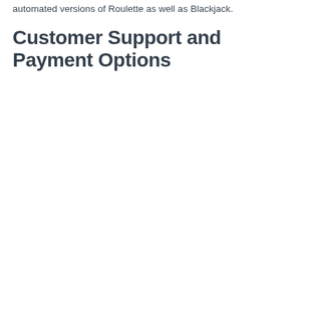automated versions of Roulette as well as Blackjack.
Customer Support and Payment Options